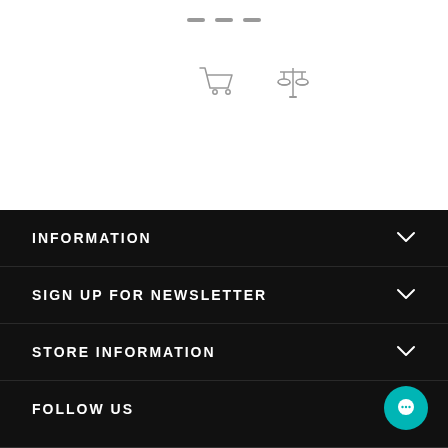[Figure (illustration): Three short horizontal dashes (pagination dots) centered near the top of the white section]
[Figure (illustration): Shopping cart icon and balance/scales icon side by side, centered in the white section]
INFORMATION
SIGN UP FOR NEWSLETTER
STORE INFORMATION
FOLLOW US